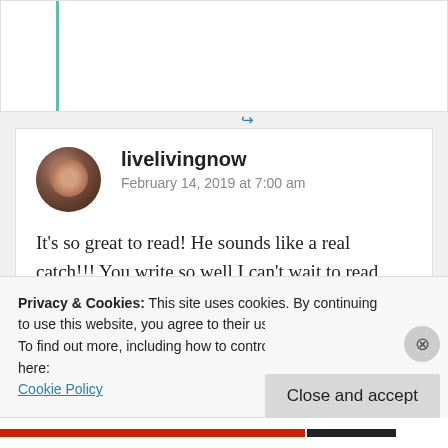↪ Reply
[Figure (photo): Circular avatar photo of user livelivingnow, showing a person with dark hair]
livelivingnow
February 14, 2019 at 7:00 am
It's so great to read! He sounds like a real catch!!! You write so well I can't wait to read your book! 🙏😊
Privacy & Cookies: This site uses cookies. By continuing to use this website, you agree to their use.
To find out more, including how to control cookies, see here:
Cookie Policy
Close and accept